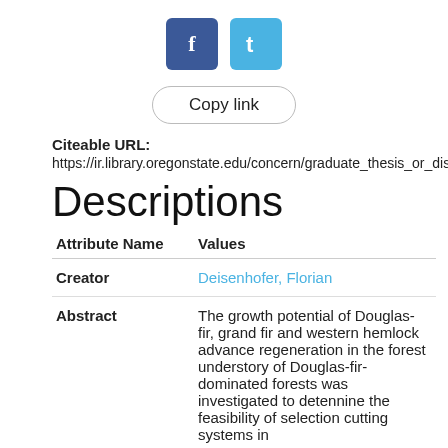[Figure (other): Facebook and Twitter social share buttons]
Copy link
Citeable URL:
https://ir.library.oregonstate.edu/concern/graduate_thesis_or_diss
Descriptions
| Attribute Name | Values |
| --- | --- |
| Creator | Deisenhofer, Florian |
| Abstract | The growth potential of Douglas-fir, grand fir and western hemlock advance regeneration in the forest understory of Douglas-fir-dominated forests was investigated to detennine the feasibility of selection cutting systems in |